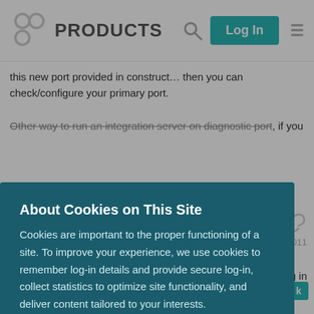PRODUCTS
this new port provided in construct... then you can check/configure your primary port.
Other way to run an integration server on diagnostic port, if you
[Figure (screenshot): Cookie consent modal overlay on top of a product forum page. Modal has dark teal background with title 'About Cookies on This Site', body text about cookies, a Privacy policy link, and a yellow 'AGREE AND PROCEED' button. Behind the modal is a forum post dated Apr 2011.]
It seems these ports are JVM bind and JVM...